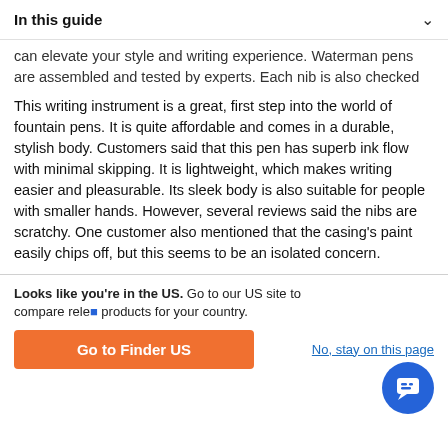In this guide
can elevate your style and writing experience. Waterman pens are assembled and tested by experts. Each nib is also checked to ensure smoothness and quality.
This writing instrument is a great, first step into the world of fountain pens. It is quite affordable and comes in a durable, stylish body. Customers said that this pen has superb ink flow with minimal skipping. It is lightweight, which makes writing easier and pleasurable. Its sleek body is also suitable for people with smaller hands. However, several reviews said the nibs are scratchy. One customer also mentioned that the casing's paint easily chips off, but this seems to be an isolated concern.
Looks like you're in the US. Go to our US site to compare relevant products for your country.
Go to Finder US
No, stay on this page